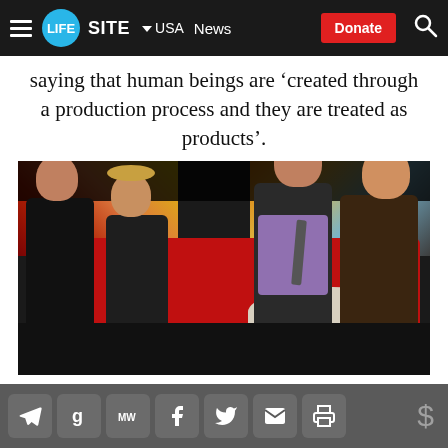LifeSite | USA | News | Donate
saying that human beings are 'created through a production process and they are treated as products'.
[Figure (photo): Television studio scene showing four people seated on a red sofa for a news interview. Two guests on the left (man in dark suit, woman in dark dress) face two hosts on the right (man in grey suit with purple shirt, woman in floral top). BBC Breakfast-style set with colorful backdrop screens visible behind.]
Social sharing icons: Telegram, Gettr, MeWe, Facebook, Twitter, Email, Print | Donate ($)